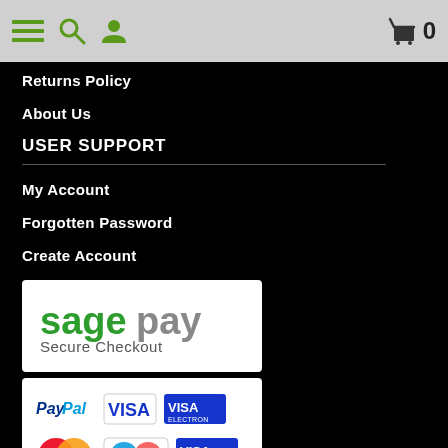Navigation bar with menu, search, user, cart (0)
Returns Policy
About Us
USER SUPPORT
My Account
Forgotten Password
Create Account
[Figure (logo): Sage Pay Secure Checkout logo]
[Figure (logo): Payment method logos: PayPal, VISA, VISA Electron, MasterCard, Maestro, VISA Debit]
[Figure (logo): Social media icons: Facebook, Twitter]